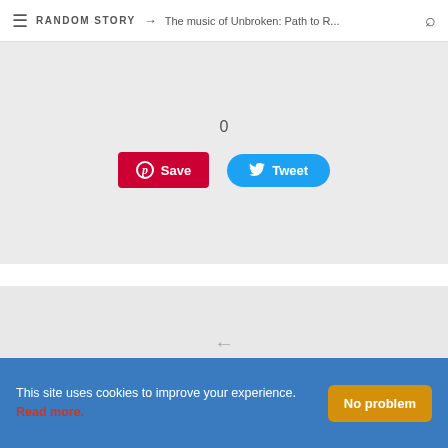RANDOM STORY → The music of Unbroken: Path to R...
0
[Figure (other): Pinterest Save button and Twitter Tweet button]
← David M. Saunders interview
→ Sound Designer wanted by Konami
ABOUT THE AUTHOR
This site uses cookies to improve your experience. Read more.